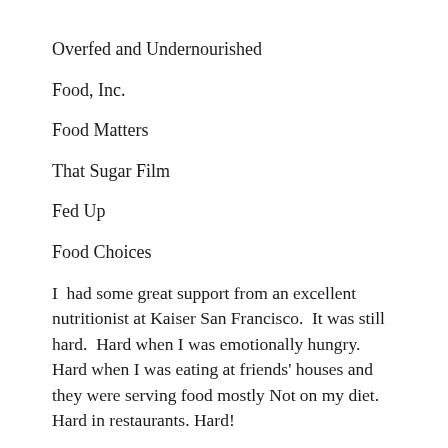Overfed and Undernourished
Food, Inc.
Food Matters
That Sugar Film
Fed Up
Food Choices
I  had some great support from an excellent nutritionist at Kaiser San Francisco.  It was still hard.  Hard when I was emotionally hungry. Hard when I was eating at friends' houses and they were serving food mostly Not on my diet. Hard in restaurants. Hard!